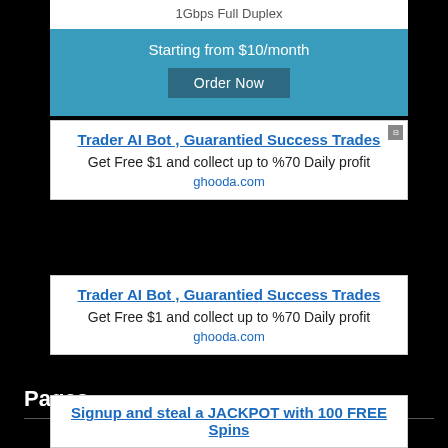1Gbps Full Duplex
Starting from $10/month
Order Now
Trader AI Bot , Guarantied Success Trades
Get Free $1 and collect up to %70 Daily profit
ghooda.com
Trader AI Bot , Guarantied Success Trades
Get Free $1 and collect up to %70 Daily profit
ghooda.com
Signup and steal a JACKPOT with 100 FREE Spins
Play at the #1 crypto casino
puntlinks.com
Pages